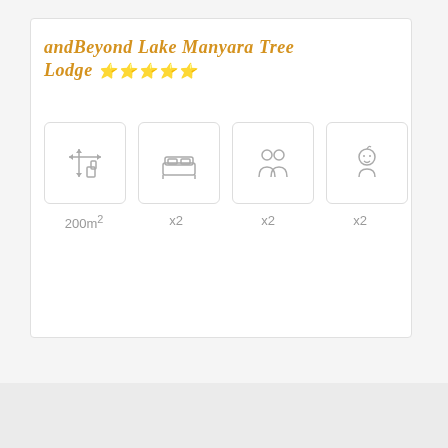andBeyond Lake Manyara Tree Lodge ★★★★★
[Figure (infographic): Four icons in rounded boxes: room size, double bed, two adults, child]
200m² x2 x2 x2
Show Price